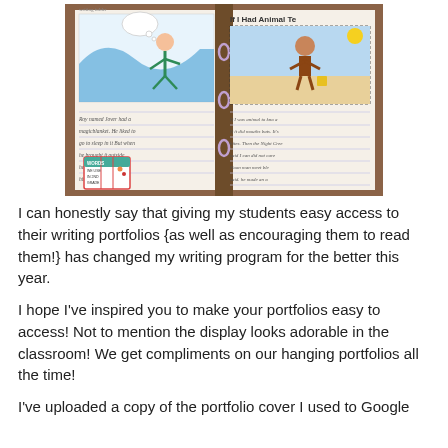[Figure (photo): Photograph of an open student writing portfolio/binder showing two pages: left page has a child's drawing of a person on blue waves and handwritten text below it with a small colorful sticker at the bottom; right page has a title 'If I Had Animal Te...' with a drawing of a child on a beach and handwritten lines below.]
I can honestly say that giving my students easy access to their writing portfolios {as well as encouraging them to read them!} has changed my writing program for the better this year.
I hope I've inspired you to make your portfolios easy to access!  Not to mention the display looks adorable in the classroom!  We get compliments on our hanging portfolios all the time!
I've uploaded a copy of the portfolio cover I used to Google